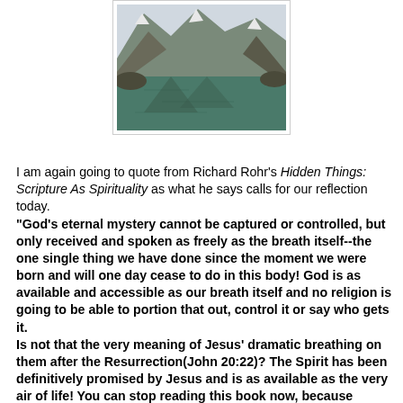[Figure (photo): A mountain lake with still green water reflecting the rocky mountain peaks and snow-capped ridges above, with steep forested slopes on either side.]
I am again going to quote from Richard Rohr's Hidden Things: Scripture As Spirituality as what he says calls for our reflection today.
"God's eternal mystery cannot be captured or controlled, but only received and spoken as freely as the breath itself--the one single thing we have done since the moment we were born and will one day cease to do in this body! God is as available and accessible as our breath itself and no religion is going to be able to portion that out, control it or say who gets it.
Is not that the very meaning of Jesus' dramatic breathing on them after the Resurrection(John 20:22)? The Spirit has been definitively promised by Jesus and is as available as the very air of life! You can stop reading this book now, because nothing else I might say